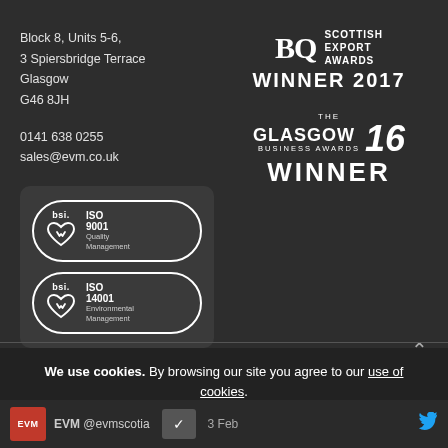Block 8, Units 5-6,
3 Spiersbridge Terrace
Glasgow
G46 8JH
0141 638 0255
sales@evm.co.uk
[Figure (logo): BSI ISO 9001 Quality Management and ISO 14001 Environmental Management certification badges]
[Figure (logo): BQ Scottish Export Awards Winner 2017 logo]
[Figure (logo): The Glasgow Business Awards 16 Winner logo]
We use cookies. By browsing our site you agree to our use of cookies.
EVM @evmscotia  3 Feb